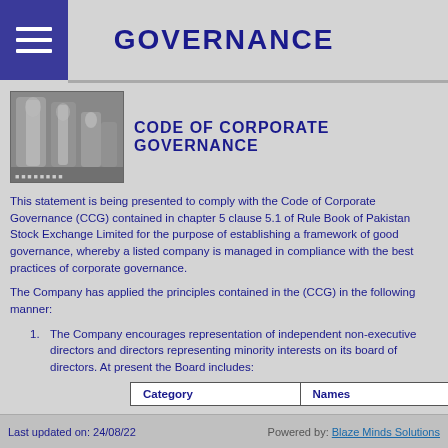GOVERNANCE
CODE OF CORPORATE GOVERNANCE
This statement is being presented to comply with the Code of Corporate Governance (CCG) contained in chapter 5 clause 5.1 of Rule Book of Pakistan Stock Exchange Limited for the purpose of establishing a framework of good governance, whereby a listed company is managed in compliance with the best practices of corporate governance.
The Company has applied the principles contained in the (CCG) in the following manner:
The Company encourages representation of independent non-executive directors and directors representing minority interests on its board of directors. At present the Board includes:
| Category | Names |
| --- | --- |
Last updated on: 24/08/22    Powered by: Blaze Minds Solutions